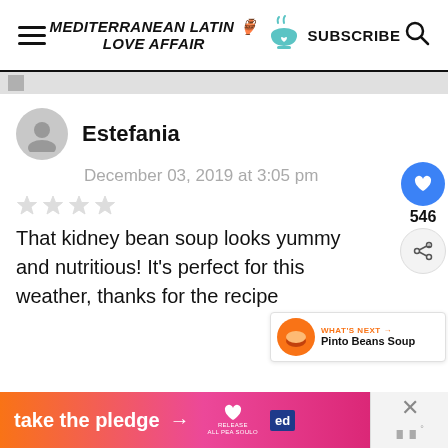Mediterranean Latin Love Affair — SUBSCRIBE
Estefania
December 03, 2019 at 3:05 pm
That kidney bean soup looks yummy and nutritious! It's perfect for this weather, thanks for the recipe
[Figure (infographic): Take the pledge advertisement banner with heart/release logos and ed badge]
[Figure (infographic): What's next: Pinto Beans Soup widget with food image thumbnail]
[Figure (infographic): Social interaction buttons: heart with count 546 and share button]